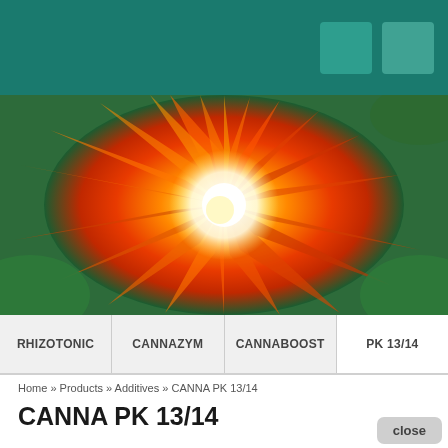[Figure (photo): Close-up burst photo of an orange and red flower with white center against green background]
RHIZOTONIC  CANNAZYM  CANNABOOST  PK 13/14
Home » Products » Additives » CANNA PK 13/14
CANNA PK 13/14
If you want the biggest fruits and flowers, CANNA PK 13/14 is the right product for you. CANNA PK 13/14 is a